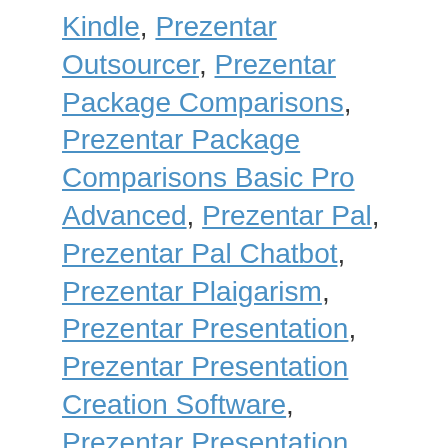Kindle, Prezentar Outsourcer, Prezentar Package Comparisons, Prezentar Package Comparisons Basic Pro Advanced, Prezentar Pal, Prezentar Pal Chatbot, Prezentar Plaigarism, Prezentar Presentation, Prezentar Presentation Creation Software, Prezentar Presentation Creator, Prezentar Presentation Creator Free, Prezentar Presentation Creator Review, Prezentar Presentation Creator Software, Prezentar Presentation Creator Tool, Prezentar Presentation Creator Torrent, Prezentar Presentation Design, Prezentar Presentation Designs Example, Prezentar Presentation Login, Prezentar Presentation Maker, Prezentar Presentation Sample